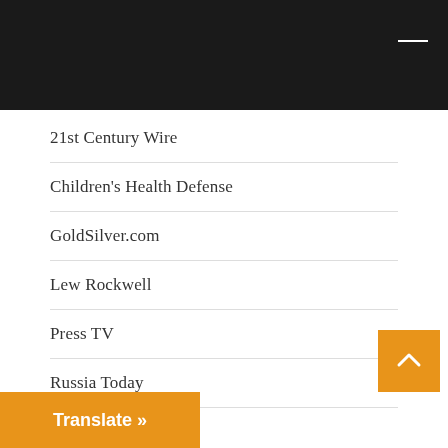21st Century Wire
Children's Health Defense
GoldSilver.com
Lew Rockwell
Press TV
Russia Today
Sovereign Man
Strategic Culture Foundation
Zero Hedge